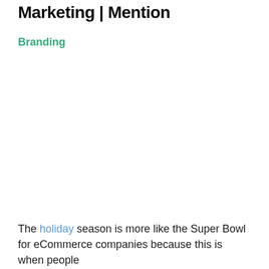Marketing | Mention
Branding
The holiday season is more like the Super Bowl for eCommerce companies because this is when people